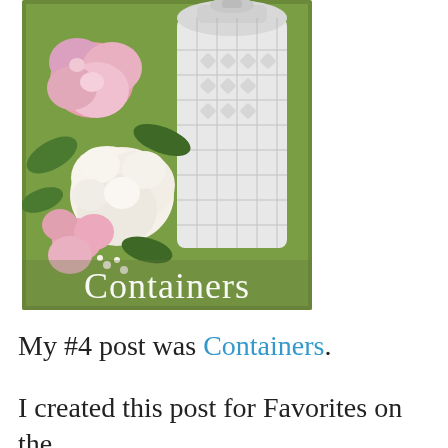[Figure (photo): Photo of pink and white flowers arranged next to a white decorative lattice lantern on a green background, with the word 'Containers' overlaid in white text at the bottom of the image.]
My #4 post was Containers.
I created this post for Favorites on the First over at The Polohouse and fell in